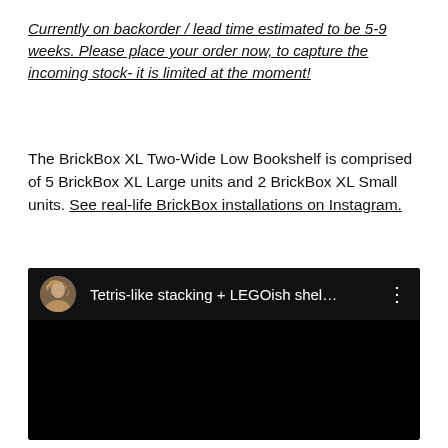Currently on backorder / lead time estimated to be 5-9 weeks. Please place your order now, to capture the incoming stock- it is limited at the moment!
The BrickBox XL Two-Wide Low Bookshelf is comprised of 5 BrickBox XL Large units and 2 BrickBox XL Small units. See real-life BrickBox installations on Instagram.
[Figure (screenshot): Embedded video player thumbnail showing a YouTube video titled 'Tetris-like stacking + LEGOish shel...' with a circular avatar of a woman with blonde hair on a black background.]